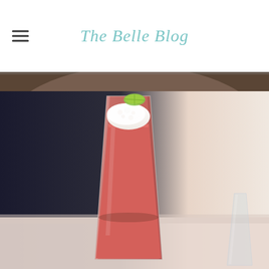The Belle Blog
[Figure (photo): Close-up photo of a white plate with dark red pomegranate seeds and black garnish, blurred background]
[Figure (photo): Photo of a tall glass with a pink/red cocktail drink topped with white foam and a lime slice garnish, on a light surface with dark background]